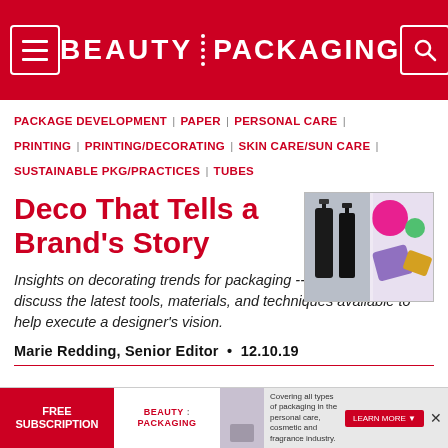BEAUTY PACKAGING
PACKAGE DEVELOPMENT | PAPER | PERSONAL CARE | PRINTING | PRINTING/DECORATING | SKIN CARE/SUN CARE | SUSTAINABLE PKG/PRACTICES | TUBES
[Figure (photo): Product photo showing dark spray bottles and colorful cosmetic items on a light background]
Deco That Tells a Brand’s Story
Insights on decorating trends for packaging -- and suppliers discuss the latest tools, materials, and techniques available to help execute a designer's vision.
Marie Redding, Senior Editor • 12.10.19
[Figure (infographic): Advertisement banner for Beauty Packaging magazine free subscription]